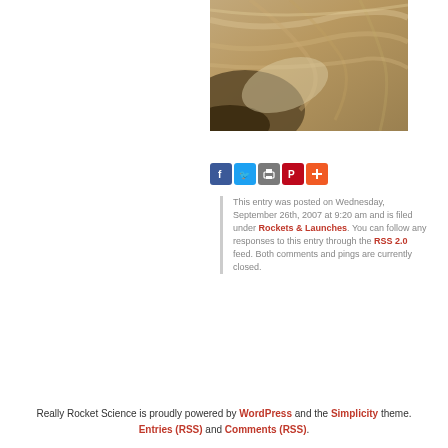[Figure (photo): Close-up photograph of a brownish, sandy or dusty surface with streaks and swirls, likely a Mars or planetary surface image.]
[Figure (infographic): Row of social sharing icon buttons: Facebook (blue), Twitter (light blue), Print (gray), Pinterest (red), and a plus/more button (orange).]
This entry was posted on Wednesday, September 26th, 2007 at 9:20 am and is filed under Rockets & Launches. You can follow any responses to this entry through the RSS 2.0 feed. Both comments and pings are currently closed.
Really Rocket Science is proudly powered by WordPress and the Simplicity theme. Entries (RSS) and Comments (RSS).